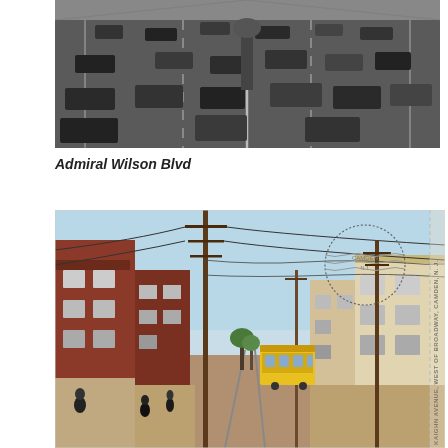[Figure (photo): Black and white aerial photograph of Admiral Wilson Blvd, a multi-lane highway with numerous cars traveling in both directions]
Admiral Wilson Blvd
[Figure (photo): Colorized vintage postcard photograph of Kaighn Avenue, West of Broadway, Camden, N.J., showing a street scene with telegraph poles, brick buildings on both sides, pedestrians, and a yellow streetcar/trolley]